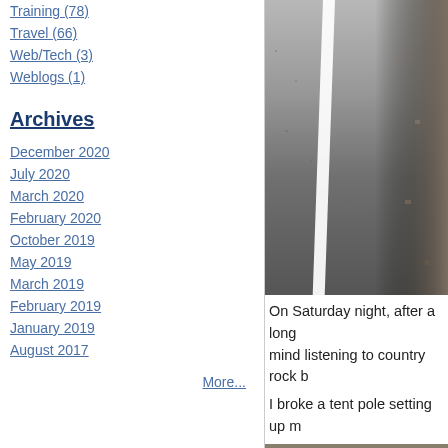Training (78)
Travel (66)
Web/Tech (3)
Weblogs (1)
Archives
December 2020
July 2020
March 2020
February 2020
October 2019
May 2019
March 2019
February 2019
January 2019
August 2017
More...
[Figure (photo): Road surface with white line and gravel shoulder]
On Saturday night, after a long mind listening to country rock b
I broke a tent pole setting up m
[Figure (photo): Close-up of bicycle legs/feet on rocky ground]